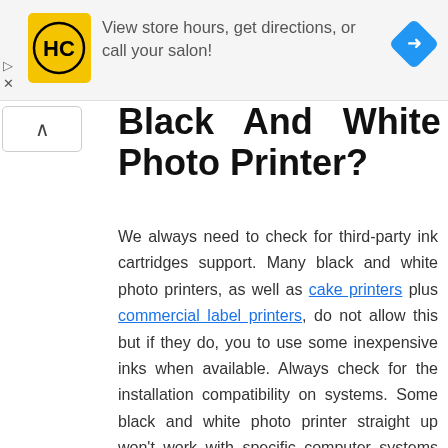[Figure (logo): HC salon logo in yellow square with arrow navigation icon ad banner: View store hours, get directions, or call your salon!]
Black And White Photo Printer?
We always need to check for third-party ink cartridges support. Many black and white photo printers, as well as cake printers plus commercial label printers, do not allow this but if they do, you to use some inexpensive inks when available. Always check for the installation compatibility on systems. Some black and white photo printer straight up won't work with specific computer systems like Mac OS.